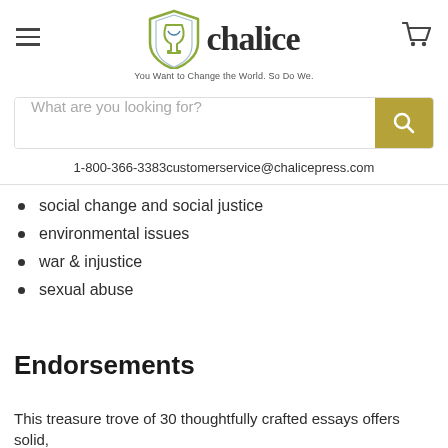[Figure (logo): Chalice Press logo with shield/chalice icon and wordmark 'chalice' with tagline 'You Want to Change the World. So Do We.']
1-800-366-3383customerservice@chalicepress.com
social change and social justice
environmental issues
war & injustice
sexual abuse
Endorsements
This treasure trove of 30 thoughtfully crafted essays offers solid,